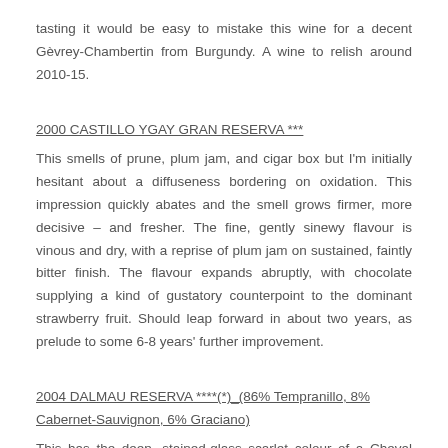tasting it would be easy to mistake this wine for a decent Gèvrey-Chambertin from Burgundy. A wine to relish around 2010-15.
2000 CASTILLO YGAY GRAN RESERVA ***
This smells of prune, plum jam, and cigar box but I'm initially hesitant about a diffuseness bordering on oxidation. This impression quickly abates and the smell grows firmer, more decisive – and fresher. The fine, gently sinewy flavour is vinous and dry, with a reprise of plum jam on sustained, faintly bitter finish. The flavour expands abruptly, with chocolate supplying a kind of gustatory counterpoint to the dominant strawberry fruit. Should leap forward in about two years, as prelude to some 6-8 years' further improvement.
2004 DALMAU RESERVA ****(*)_(86% Tempranillo, 8% Cabernet-Sauvignon, 6% Graciano)
This has the deep, stained-glass scarlet colour of a Cheval Blanc, the